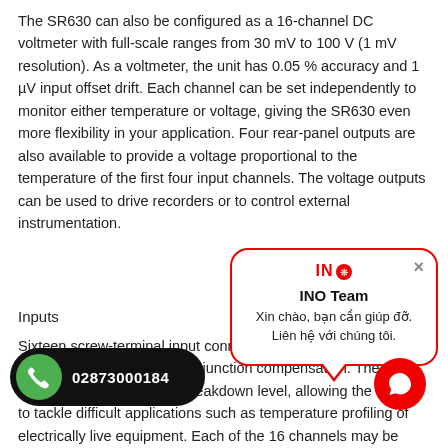The SR630 can also be configured as a 16-channel DC voltmeter with full-scale ranges from 30 mV to 100 V (1 mV resolution). As a voltmeter, the unit has 0.05 % accuracy and 1 µV input offset drift. Each channel can be set independently to monitor either temperature or voltage, giving the SR630 even more flexibility in your application. Four rear-panel outputs are also available to provide a voltage proportional to the temperature of the first four input channels. The voltage outputs can be used to drive recorders or to control external instrumentation.
Inputs
Sixteen screw-terminal input connectors are located on the rear-panel terminal block for cold junction compensation. The input connectors have a 250 V breakdown level, allowing the SR630 to tackle difficult applications such as temperature profiling of electrically live equipment. Each of the 16 channels may be independently set to display in units of °C, °F, K, or thermocouple type, nominal temperature, the thermocouple parameters may be uniquely set for each channel, providing complete flexibility in the configuration of the instrument. Access to any channel parameter is provided through the front panel or via the computer interface. The SR630 can store a login or instrument...
[Figure (screenshot): Popup chat widget from INO Team with message 'Xin chào, bạn cần giúp đỡ. Liên hệ với chúng tôi.' and a red X close button, speech bubble pointing down.]
[Figure (infographic): Phone call button showing green WhatsApp icon and phone number 02873000184 on black pill-shaped button, plus a red circular chat button on the right.]